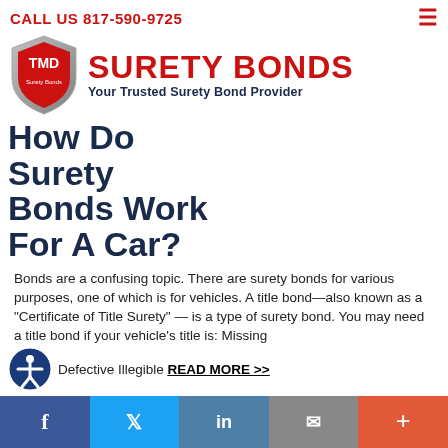CALL US 817-590-9725
[Figure (logo): TMD Surety Bonds shield logo with red shield, silver border, TMD text, and brand name 'SURETY BONDS - Your Trusted Surety Bond Provider']
How Do Surety Bonds Work For A Car?
Bonds are a confusing topic. There are surety bonds for various purposes, one of which is for vehicles. A title bond—also known as a "Certificate of Title Surety" — is a type of surety bond. You may need a title bond if your vehicle's title is: Missing Defective Illegible READ MORE >>
[Figure (infographic): Social media share bar at bottom with Facebook, Twitter, LinkedIn, Email, and Plus icons]